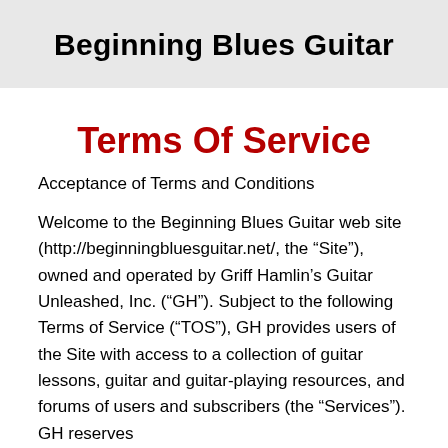Beginning Blues Guitar
Terms Of Service
Acceptance of Terms and Conditions
Welcome to the Beginning Blues Guitar web site (http://beginningbluesguitar.net/, the “Site”), owned and operated by Griff Hamlin’s Guitar Unleashed, Inc. (“GH”). Subject to the following Terms of Service (“TOS”), GH provides users of the Site with access to a collection of guitar lessons, guitar and guitar-playing resources, and forums of users and subscribers (the “Services”). GH reserves